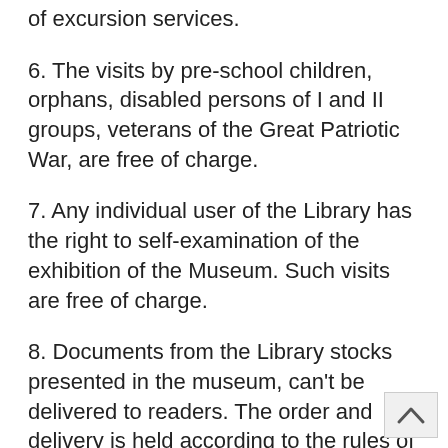of excursion services.
6. The visits by pre-school children, orphans, disabled persons of I and II groups, veterans of the Great Patriotic War, are free of charge.
7. Any individual user of the Library has the right to self-examination of the exhibition of the Museum. Such visits are free of charge.
8. Documents from the Library stocks presented in the museum, can’t be delivered to readers. The order and delivery is held according to the rules of the Manuscripts, early-printed and rare books reading room instructions, incunabula and rare books.